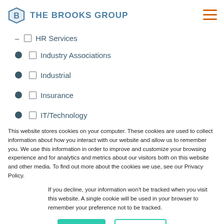The Brooks Group
HR Services (partially visible, clipped at top)
Industry Associations
Industrial
Insurance
IT/Technology
(partially visible item below IT/Technology)
This website stores cookies on your computer. These cookies are used to collect information about how you interact with our website and allow us to remember you. We use this information in order to improve and customize your browsing experience and for analytics and metrics about our visitors both on this website and other media. To find out more about the cookies we use, see our Privacy Policy.
If you decline, your information won’t be tracked when you visit this website. A single cookie will be used in your browser to remember your preference not to be tracked.
Accept | Decline